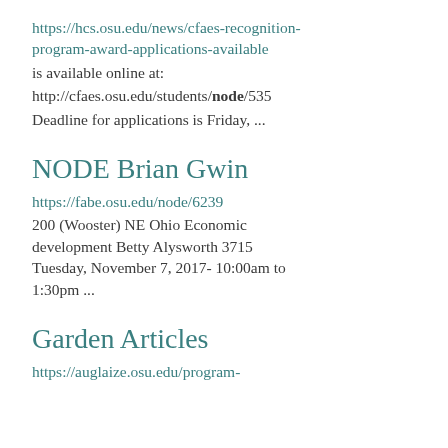https://hcs.osu.edu/news/cfaes-recognition-program-award-applications-available
is available online at:
http://cfaes.osu.edu/students/node/535
Deadline for applications is Friday, ...
NODE Brian Gwin
https://fabe.osu.edu/node/6239
200 (Wooster) NE Ohio Economic development Betty Alysworth 3715 Tuesday, November 7, 2017- 10:00am to 1:30pm ...
Garden Articles
https://auglaize.osu.edu/program-